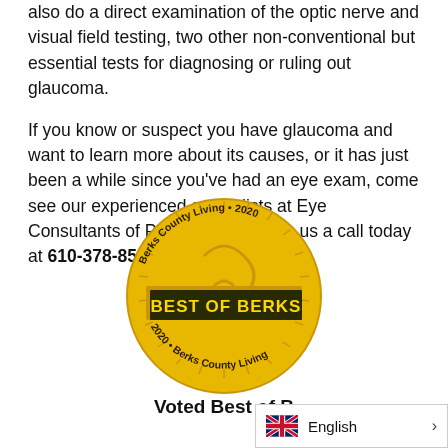also do a direct examination of the optic nerve and visual field testing, two other non-conventional but essential tests for diagnosing or ruling out glaucoma.
If you know or suspect you have glaucoma and want to learn more about its causes, or it has just been a while since you've had an eye exam, come see our experienced specialists at Eye Consultants of Pennsylvania. Give us a call today at 610-378-8500.
[Figure (logo): Berks County Living 2020 Best of Berks gold medallion badge with circular text reading 'Berks County Living • 2020' and '2020 • Berks County Living' around a gold coin design with 'BEST OF BERKS' banner across the middle.]
Voted Best of B
[Figure (other): Language selector bar showing UK flag icon, the word 'English', and a right chevron arrow.]